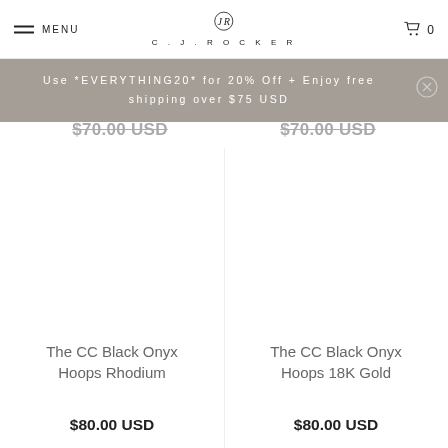MENU  C.J.ROCKER  0
Use *EVERYTHING20* for 20% Off + Enjoy free shipping over $75 USD
$70.00 USD  $70.00 USD
The CC Black Onyx Hoops Rhodium
$80.00 USD
The CC Black Onyx Hoops 18K Gold
$80.00 USD